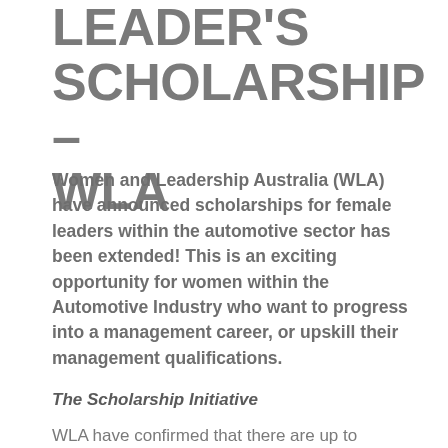LEADER'S SCHOLARSHIP – WLA
Women and Leadership Australia (WLA) have announced scholarships for female leaders within the automotive sector has been extended! This is an exciting opportunity for women within the Automotive Industry who want to progress into a management career, or upskill their management qualifications.
The Scholarship Initiative
WLA have confirmed that there are up to